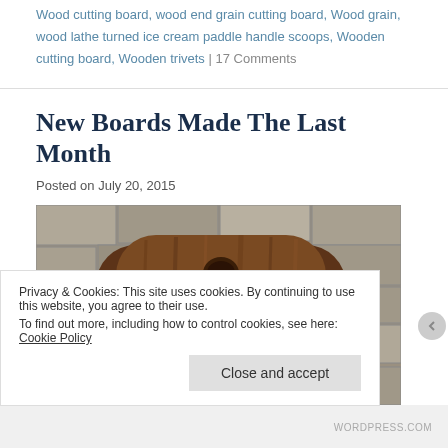Wood cutting board, wood end grain cutting board, Wood grain, wood lathe turned ice cream paddle handle scoops, Wooden cutting board, Wooden trivets | 17 Comments
New Boards Made The Last Month
Posted on July 20, 2015
[Figure (photo): A wooden cutting board with rounded edges and a hole near the top, photographed against a stone/brick wall background. The wood shows rich brown grain patterns.]
Privacy & Cookies: This site uses cookies. By continuing to use this website, you agree to their use. To find out more, including how to control cookies, see here: Cookie Policy
Close and accept